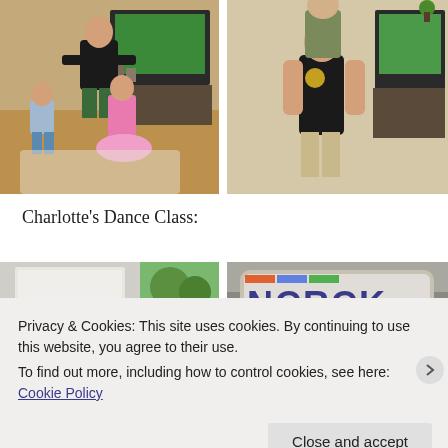[Figure (photo): Two photos side by side: left photo shows a man dancing with children in a living room with a TV showing a football game in the background; right photo shows a man hugging and lifting a child in a living room with a TV in the background.]
Charlotte's Dance Class:
[Figure (photo): Two partially visible photos side by side at the bottom: left shows an indoor/outdoor scene with a garage or door visible; right shows a pillow or cushion with colorful lettering partially visible reading something like 'NCRCK'.]
Privacy & Cookies: This site uses cookies. By continuing to use this website, you agree to their use.
To find out more, including how to control cookies, see here: Cookie Policy